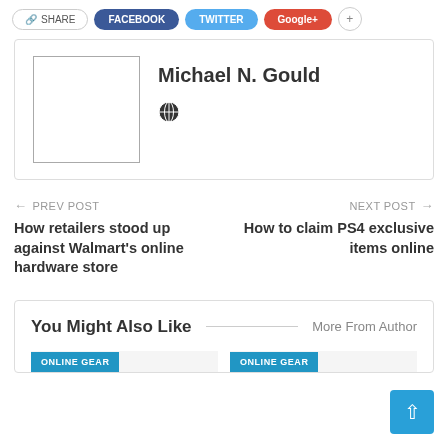[Figure (screenshot): Social share buttons: Share, Facebook, Twitter, Google+, and more]
Michael N. Gould
[Figure (illustration): Globe/website icon for author link]
← PREV POST
How retailers stood up against Walmart's online hardware store
NEXT POST →
How to claim PS4 exclusive items online
You Might Also Like
More From Author
ONLINE GEAR
ONLINE GEAR